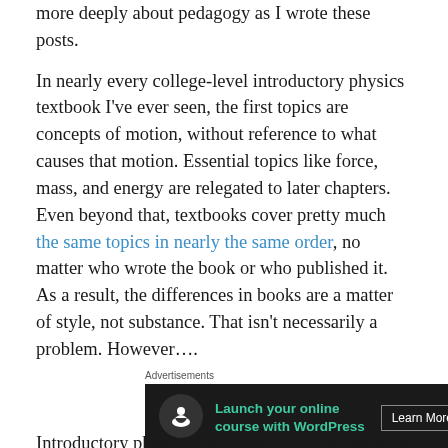more deeply about pedagogy as I wrote these posts. In nearly every college-level introductory physics textbook I've ever seen, the first topics are concepts of motion, without reference to what causes that motion. Essential topics like force, mass, and energy are relegated to later chapters. Even beyond that, textbooks cover pretty much the same topics in nearly the same order, no matter who wrote the book or who published it. As a result, the differences in books are a matter of style, not substance. That isn't necessarily a problem. However….
[Figure (other): Advertisement banner: 'Launch your online course with WordPress' with a Learn More button, on a dark background with a tree/person icon.]
Introductory physics textbooks are far too long for a regular two-semester physics course (which is the most